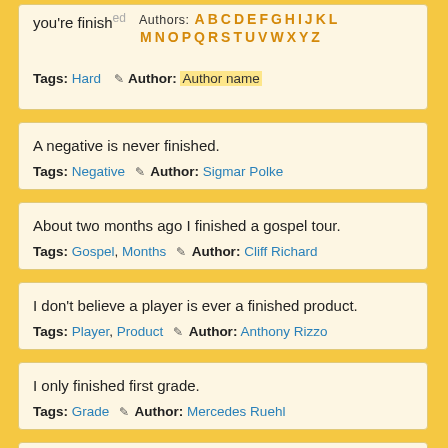you're finished. Tags: Hard  Author: [author name]
Authors: A B C D E F G H I J K L M N O P Q R S T U V W X Y Z
A negative is never finished.
Tags: Negative  Author: Sigmar Polke
About two months ago I finished a gospel tour.
Tags: Gospel, Months  Author: Cliff Richard
I don't believe a player is ever a finished product.
Tags: Player, Product  Author: Anthony Rizzo
I only finished first grade.
Tags: Grade  Author: Mercedes Ruehl
When I look back over my novels what I find is that when I